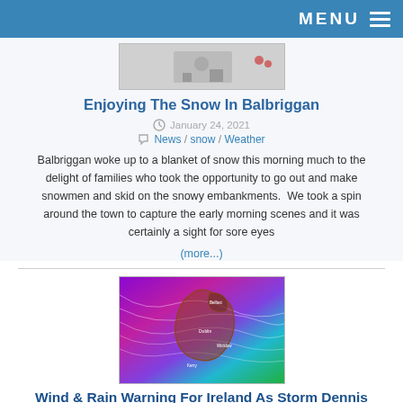MENU
[Figure (photo): Snow scene thumbnail image]
Enjoying The Snow In Balbriggan
January 24, 2021
News  snow  Weather
Balbriggan woke up to a blanket of snow this morning much to the delight of families who took the opportunity to go out and make snowmen and skid on the snowy embankments.  We took a spin around the town to capture the early morning scenes and it was certainly a sight for sore eyes
(more...)
[Figure (map): Weather map of Ireland showing wind and rain patterns for Storm Dennis, with purple/pink/teal/green colors indicating weather intensity]
Wind & Rain Warning For Ireland As Storm Dennis Approaches
February 14, 2020
News  Weather warning